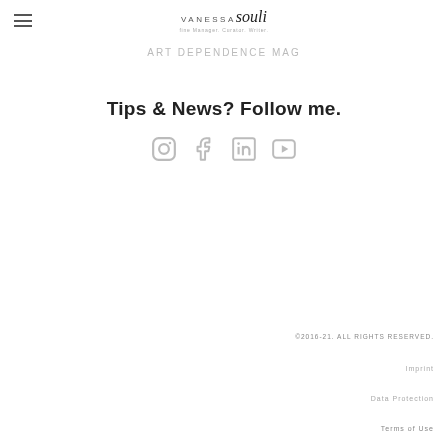[Figure (logo): Vanessa Souli logo with tagline: fine Manager. Curator. Writer.]
Art Dependence Mag
Tips & News? Follow me.
[Figure (infographic): Social media icons: Instagram, Facebook, LinkedIn, YouTube]
©2016-21. ALL RIGHTS RESERVED.
Imprint
Data Protection
Terms of Use